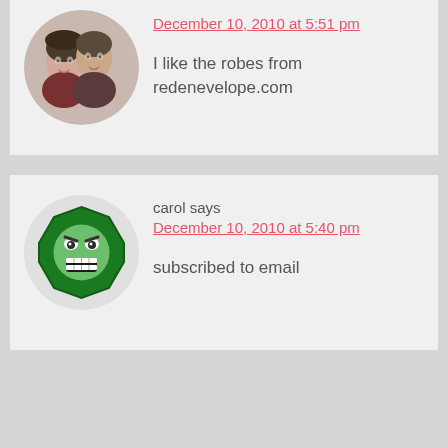[Figure (photo): Circular avatar showing a couple, a woman and a man, smiling together.]
December 10, 2010 at 5:51 pm
I like the robes from redenevelope.com
[Figure (illustration): Circular avatar with a green angry emoji/monster face icon on dark green octagonal background.]
carol says
December 10, 2010 at 5:40 pm
subscribed to email